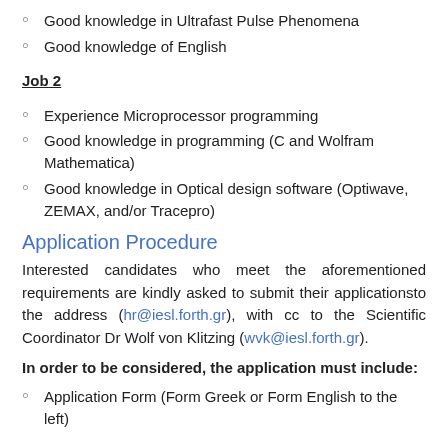Good knowledge in Ultrafast Pulse Phenomena
Good knowledge of English
Job 2
Experience Microprocessor programming
Good knowledge in programming (C and Wolfram Mathematica)
Good knowledge in Optical design software (Optiwave, ZEMAX, and/or Tracepro)
Application Procedure
Interested candidates who meet the aforementioned requirements are kindly asked to submit their applicationsto the address (hr@iesl.forth.gr), with cc to the Scientific Coordinator Dr Wolf von Klitzing (wvk@iesl.forth.gr).
In order to be considered, the application must include:
Application Form (Form Greek or Form English to the left)